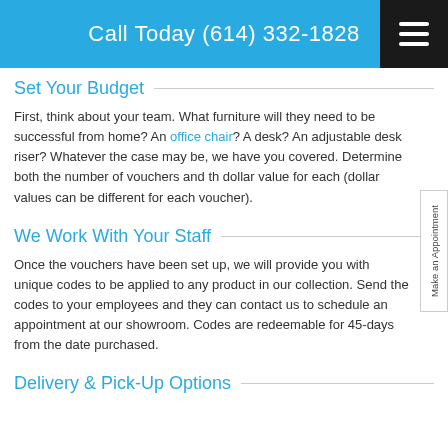Call Today (614) 332-1828
Set Your Budget
First, think about your team. What furniture will they need to be successful from home? An office chair? A desk? An adjustable desk riser? Whatever the case may be, we have you covered. Determine both the number of vouchers and the dollar value for each (dollar values can be different for each voucher).
We Work With Your Staff
Once the vouchers have been set up, we will provide you with unique codes to be applied to any product in our collection. Send the codes to your employees and they can contact us to schedule an appointment at our showroom. Codes are redeemable for 45-days from the date purchased.
Delivery & Pick-Up Options